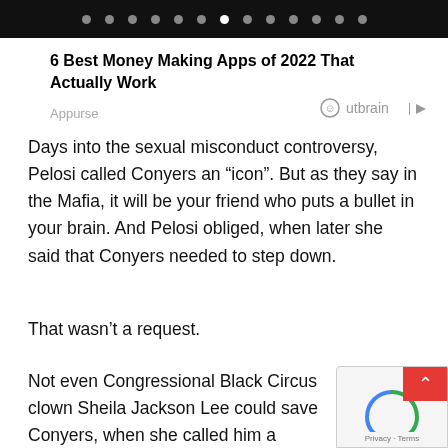navigation dots carousel
6 Best Money Making Apps of 2022 That Actually Work
Appurse
[Figure (logo): Outbrain logo with smiley icon and play button]
Days into the sexual misconduct controversy, Pelosi called Conyers an “icon”. But as they say in the Mafia, it will be your friend who puts a bullet in your brain. And Pelosi obliged, when later she said that Conyers needed to step down.
That wasn’t a request.
Not even Congressional Black Circus clown Sheila Jackson Lee could save Conyers, when she called him a “patriot”. When a big-mouth black woman can’t save you, you know the order came from the head of the family.
So CBS news reports that Conyers is out.